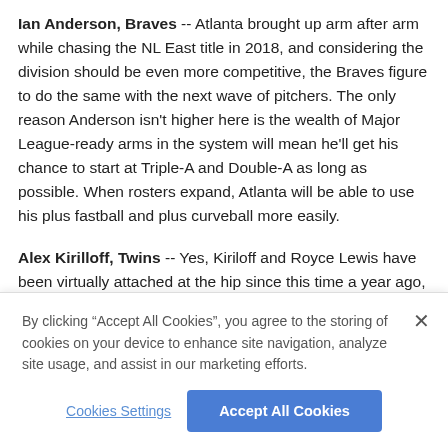Ian Anderson, Braves -- Atlanta brought up arm after arm while chasing the NL East title in 2018, and considering the division should be even more competitive, the Braves figure to do the same with the next wave of pitchers. The only reason Anderson isn't higher here is the wealth of Major League-ready arms in the system will mean he'll get his chance to start at Triple-A and Double-A as long as possible. When rosters expand, Atlanta will be able to use his plus fastball and plus curveball more easily.
Alex Kirilloff, Twins -- Yes, Kiriloff and Royce Lewis have been virtually attached at the hip since this time a year ago, so it may be odd to see the outfielder here and not the shortstop. However, Kirilloff is one year older -- he missed the 2017 season due to Tommy John surgery -- and is coming off the more offensively
By clicking “Accept All Cookies”, you agree to the storing of cookies on your device to enhance site navigation, analyze site usage, and assist in our marketing efforts.